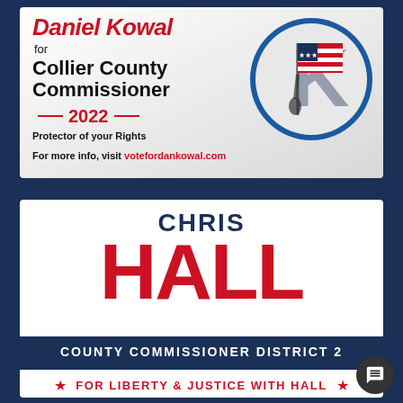[Figure (illustration): Campaign advertisement for Daniel Kowal for Collier County Commissioner 2022. Features red italic 'Daniel Kowal' text, black bold 'for Collier County Commissioner', red dashes and '2022', tagline 'Protector of your Rights', website 'votefordankowal.com', and a patriotic logo with American flag and person raising flag on blue circle with letter K.]
[Figure (illustration): Campaign advertisement for Chris Hall, County Commissioner District 2. Large 'CHRIS' in navy blue, very large 'HALL' in red. Blue bar with 'COUNTY COMMISSIONER DISTRICT 2'. White bar with red stars and text 'FOR LIBERTY & JUSTICE WITH HALL'. Small disclaimer text at bottom reads 'Paid for by Chris Hall Republican for Collier County Commissioner District 2'.]